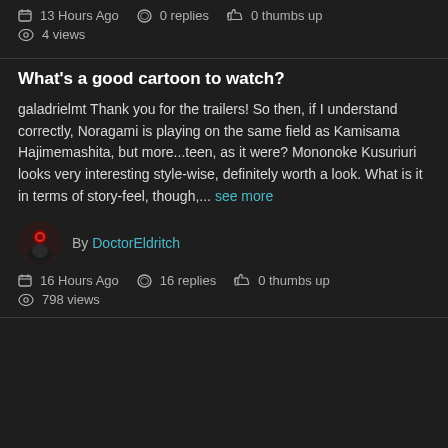13 Hours Ago   0 replies   0 thumbs up
4 views
What's a good cartoon to watch?
galadrielmt Thank you for the trailers! So then, if I understand correctly, Noragami is playing on the same field as Kamisama Hajimemashita, but more...teen, as it were? Mononoke Kusuriuri looks very interesting style-wise, definitely worth a look. What is it in terms of story-feel, though,... see more
By DoctorEldritch
16 Hours Ago   16 replies   0 thumbs up
798 views